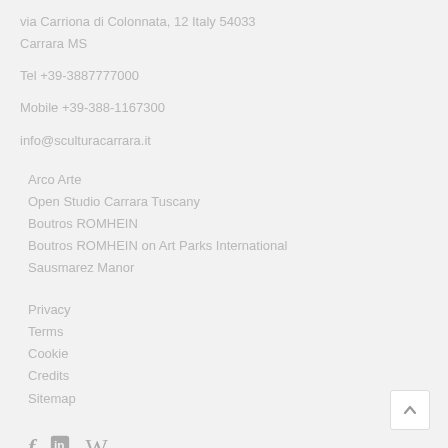via Carriona di Colonnata, 12 Italy 54033
Carrara MS
Tel +39-3887777000
Mobile +39-388-1167300
info@sculturacarrara.it
Arco Arte
Open Studio Carrara Tuscany
Boutros ROMHEIN
Boutros ROMHEIN on Art Parks International
Sausmarez Manor
Privacy
Terms
Cookie
Credits
Sitemap
[Figure (other): Social media icons: Facebook (f), LinkedIn (in square), Wikipedia (W)]
[Figure (other): Back to top button with upward chevron arrow]